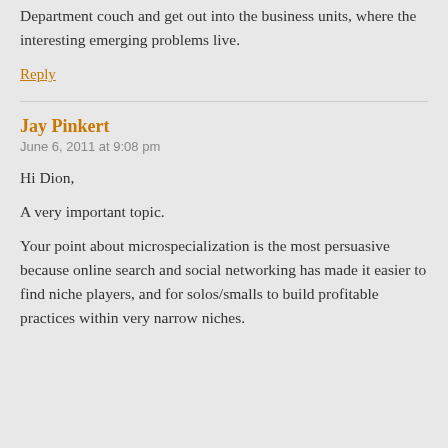Department couch and get out into the business units, where the interesting emerging problems live.
Reply
Jay Pinkert
June 6, 2011 at 9:08 pm
Hi Dion,
A very important topic.
Your point about microspecialization is the most persuasive because online search and social networking has made it easier to find niche players, and for solos/smalls to build profitable practices within very narrow niches.